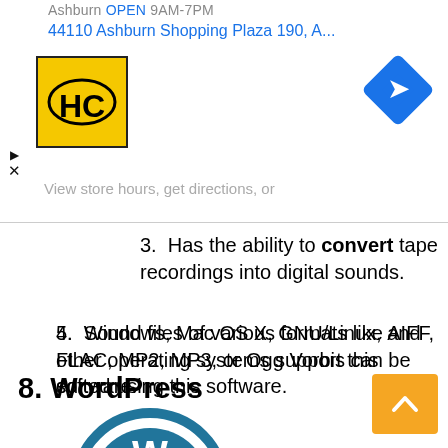[Figure (screenshot): Ad bar showing HC logo, Ashburn store address (44110 Ashburn Shopping Plaza 190, A...), navigation diamond icon, and 'View store hours, get directions, or' text in gray]
3. Has the ability to convert tape recordings into digital sounds.
4. Sound files of various formats like AIFF, FLAC, MP2, MP3, or Ogg Vorbis can be edited using this software.
5. Windows, Mac OS X, GNU/Linux, and other operating systems support this software.
8. WordPress
[Figure (logo): WordPress logo (partial, circular blue/teal icon visible at bottom)]